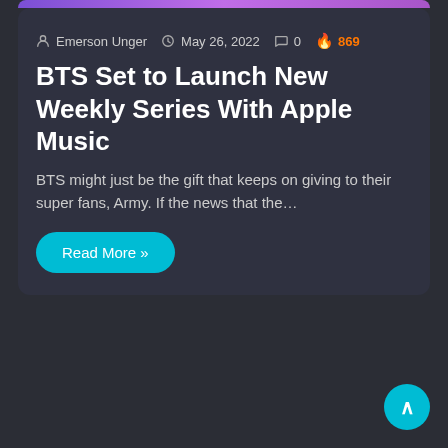[Figure (illustration): Purple gradient banner/header image at top of card]
Emerson Unger  May 26, 2022  0  869
BTS Set to Launch New Weekly Series With Apple Music
BTS might just be the gift that keeps on giving to their super fans, Army. If the news that the…
Read More »